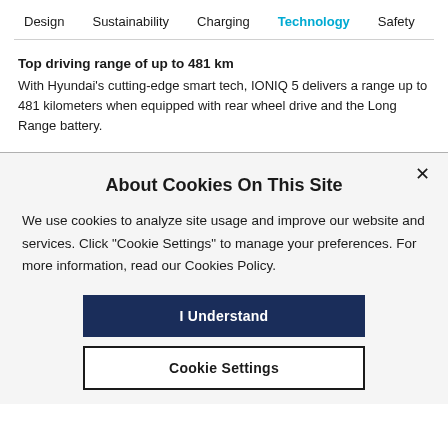Design  Sustainability  Charging  Technology  Safety
Top driving range of up to 481 km
With Hyundai's cutting-edge smart tech, IONIQ 5 delivers a range up to 481 kilometers when equipped with rear wheel drive and the Long Range battery.
About Cookies On This Site
We use cookies to analyze site usage and improve our website and services. Click "Cookie Settings" to manage your preferences. For more information, read our Cookies Policy.
I Understand
Cookie Settings